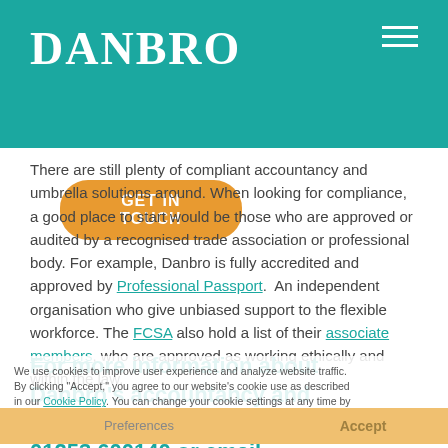[Figure (logo): DANBRO logo in white on teal background header with hamburger menu icon]
GET IN TOUCH
There are still plenty of compliant accountancy and umbrella solutions around. When looking for compliance, a good place to start would be those who are approved or audited by a recognised trade association or professional body. For example, Danbro is fully accredited and approved by Professional Passport. An independent organisation who give unbiased support to the flexible workforce. The FCSA also hold a list of their associate members, who are approved as working ethically and within the law.
For more information about Danbro's accountancy and employment services, call us on 01253 600140 or email enquiries@danbro.co.uk
We use cookies to improve user experience and analyze website traffic. By clicking "Accept," you agree to our website's cookie use as described in our Cookie Policy. You can change your cookie settings at any time by clicking "Preferences."